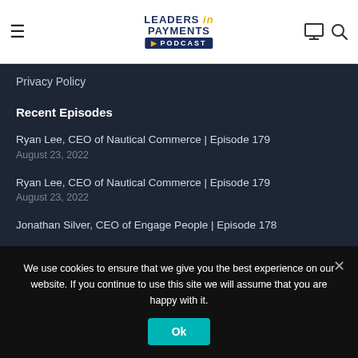Leaders in Payments Podcast — navigation header with hamburger menu, logo, monitor icon, and search icon
Privacy Policy
Recent Episodes
Ryan Lee, CEO of Nautical Commerce | Episode 179
August 23, 2022
Ryan Lee, CEO of Nautical Commerce | Episode 179
August 23, 2022
Jonathan Silver, CEO of Engage People | Episode 178
We use cookies to ensure that we give you the best experience on our website. If you continue to use this site we will assume that you are happy with it.
Ok